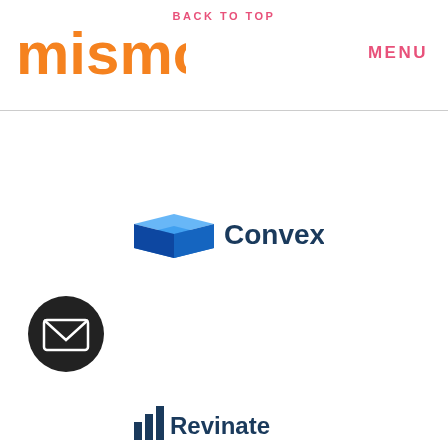BACK TO TOP
[Figure (logo): mismo logo in orange]
MENU
[Figure (logo): Convex logo with stacked blue layers icon and Convex text]
[Figure (logo): Dark circular email/envelope button icon]
[Figure (logo): Revinate logo with bar chart icon and Revinate text]